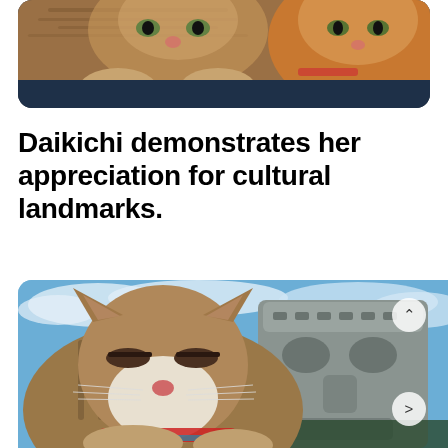[Figure (photo): Close-up photo of a tabby cat with orange and brown fur lying down, looking at the camera with paws forward, against a dark blue background. Bottom portion of image visible.]
Daikichi demonstrates her appreciation for cultural landmarks.
[Figure (photo): Photo of a tabby cat with eyes half-closed lying next to a stone Moai-style statue head against a blue sky with clouds. Cat wears a red collar. Navigation arrows visible.]